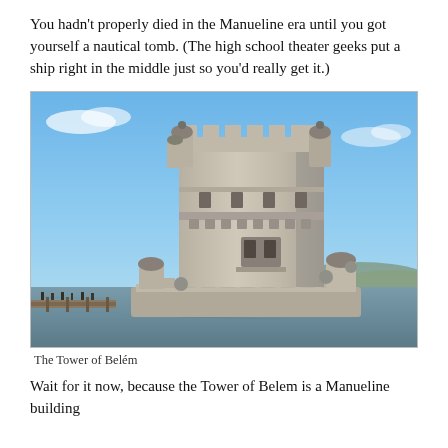You hadn't properly died in the Manueline era until you got yourself a nautical tomb. (The high school theater geeks put a ship right in the middle just so you'd really get it.)
[Figure (photo): Photograph of the Tower of Belém, a historic Manueline-style fortress tower situated on the edge of the Tagus River in Lisbon, Portugal. The stone tower is photographed against a clear blue sky with the river waters visible around its base.]
The Tower of Belém
Wait for it now, because the Tower of Belem is a Manueline building